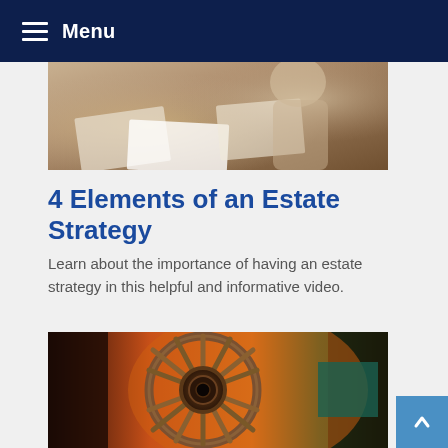Menu
[Figure (photo): Photo of people reviewing documents on a table, partially visible at top of page]
4 Elements of an Estate Strategy
Learn about the importance of having an estate strategy in this helpful and informative video.
[Figure (photo): Close-up photo of a wooden wagon wheel with many spokes, photographed in a barn-like setting with warm orange lighting in the background]